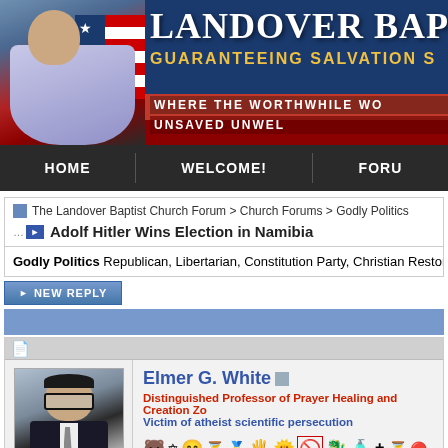[Figure (screenshot): Landover Baptist website banner with Jesus figure draped in American flag, site title 'Landover Baptist' and taglines 'Guaranteeing Salvation S...', 'Where the Worthwhile Wo...', 'Unsaved Unwel...']
HOME    WELCOME!    FORU
The Landover Baptist Church Forum > Church Forums > Godly Politics
Adolf Hitler Wins Election in Namibia
Godly Politics Republican, Libertarian, Constitution Party, Christian Restora...
NEW REPLY
Elmer G. White
Distinguished Professor of Prayer Healing and Creation Zo... Victim of atheist scientific persecution